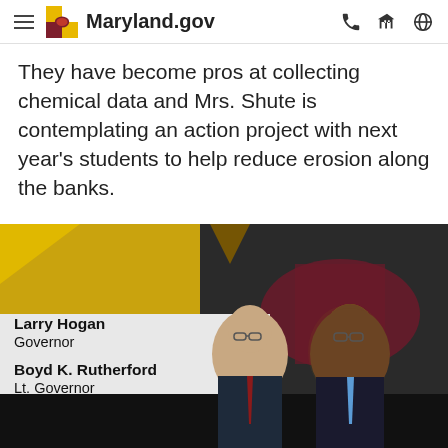Maryland.gov
They have become pros at collecting chemical data and Mrs. Shute is contemplating an action project with next year's students to help reduce erosion along the banks.
[Figure (photo): Official Maryland state government photo showing Governor Larry Hogan and Lt. Governor Boyd K. Rutherford in suits, standing together against a Maryland state flag background with gold and maroon decorative elements.]
Larry Hogan
Governor

Boyd K. Rutherford
Lt. Governor